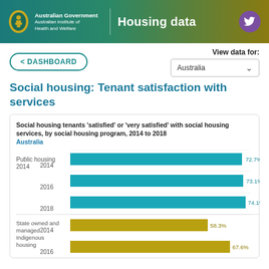Australian Government | Australian Institute of Health and Welfare | Housing data
< DASHBOARD
View data for: Australia
Social housing: Tenant satisfaction with services
[Figure (bar-chart): Social housing tenants 'satisfied' or 'very satisfied' with social housing services, by social housing program, 2014 to 2018 Australia]